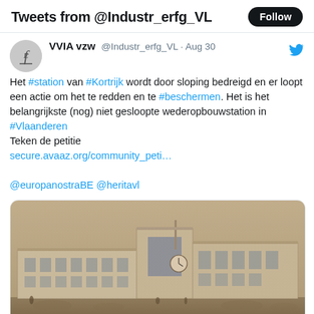Tweets from @Industr_erfg_VL
VVIA vzw @Industr_erfg_VL · Aug 30
Het #station van #Kortrijk wordt door sloping bedreigd en er loopt een actie om het te redden en te #beschermen. Het is het belangrijkste (nog) niet gesloopte wederopbouwstation in #Vlaanderen
Teken de petitie
secure.avaaz.org/community_peti…

@europanostraBE @heritavl
[Figure (photo): Sepia-toned historical photograph of the Kortrijk railway station, a modernist/Art Deco building with large windows and a clock tower visible in the center. Cars and people are visible in the foreground.]